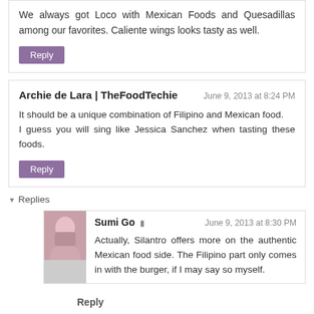We always got Loco with Mexican Foods and Quesadillas among our favorites. Caliente wings looks tasty as well.
Reply
Archie de Lara | TheFoodTechie — June 9, 2013 at 8:24 PM
It should be a unique combination of Filipino and Mexican food.
I guess you will sing like Jessica Sanchez when tasting these foods.
Reply
Replies
Sumi Go — June 9, 2013 at 8:30 PM
Actually, Silantro offers more on the authentic Mexican food side. The Filipino part only comes in with the burger, if I may say so myself.
Reply